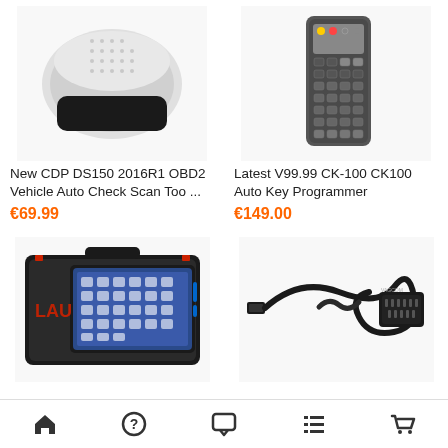[Figure (photo): New CDP DS150 2016R1 OBD2 Vehicle Auto Check Scan Tool device - white and black handheld scanner]
New CDP DS150 2016R1 OBD2 Vehicle Auto Check Scan Too ...
€69.99
[Figure (photo): Latest V99.99 CK-100 CK100 Auto Key Programmer - black handheld remote programmer device]
Latest V99.99 CK-100 CK100 Auto Key Programmer
€149.00
[Figure (photo): Launch X431 tablet diagnostic tool in black carrying case with red accents]
[Figure (photo): VAGCOM OBD2 USB cable with OBD2 connector plug]
Home | Help | Chat | List | Cart